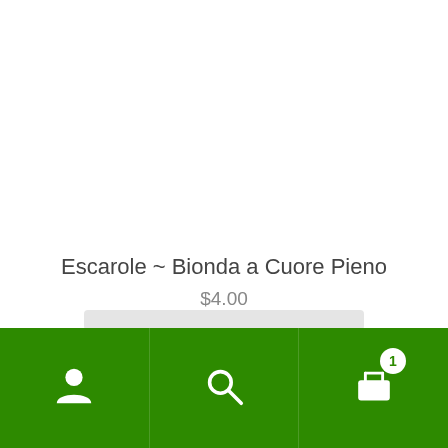Escarole ~ Bionda a Cuore Pieno
$4.00
[Figure (screenshot): Mobile app bottom navigation bar with green background, containing a user/account icon on the left, a search icon in the center, and a shopping basket icon with a badge showing '1' on the right.]